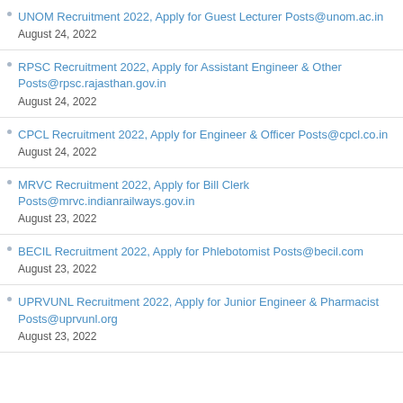UNOM Recruitment 2022, Apply for Guest Lecturer Posts@unom.ac.in
August 24, 2022
RPSC Recruitment 2022, Apply for Assistant Engineer & Other Posts@rpsc.rajasthan.gov.in
August 24, 2022
CPCL Recruitment 2022, Apply for Engineer & Officer Posts@cpcl.co.in
August 24, 2022
MRVC Recruitment 2022, Apply for Bill Clerk Posts@mrvc.indianrailways.gov.in
August 23, 2022
BECIL Recruitment 2022, Apply for Phlebotomist Posts@becil.com
August 23, 2022
UPRVUNL Recruitment 2022, Apply for Junior Engineer & Pharmacist Posts@uprvunl.org
August 23, 2022